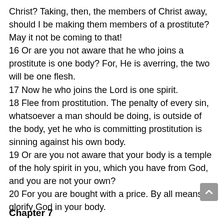Christ? Taking, then, the members of Christ away, should I be making them members of a prostitute? May it not be coming to that! 16 Or are you not aware that he who joins a prostitute is one body? For, He is averring, the two will be one flesh. 17 Now he who joins the Lord is one spirit. 18 Flee from prostitution. The penalty of every sin, whatsoever a man should be doing, is outside of the body, yet he who is committing prostitution is sinning against his own body. 19 Or are you not aware that your body is a temple of the holy spirit in you, which you have from God, and you are not your own? 20 For you are bought with a price. By all means glorify God in your body.
Chapter 7